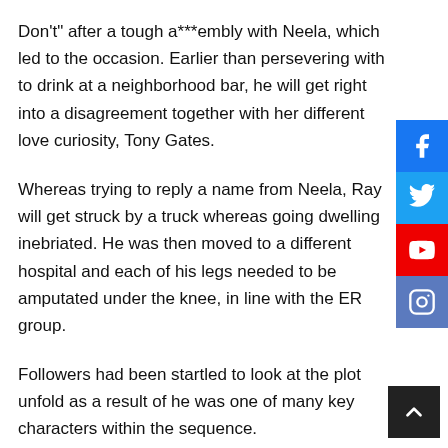Don't" after a tough a***embly with Neela, which led to the occasion. Earlier than persevering with to drink at a neighborhood bar, he will get right into a disagreement together with her different love curiosity, Tony Gates.
Whereas trying to reply a name from Neela, Ray will get struck by a truck whereas going dwelling inebriated. He was then moved to a different hospital and each of his legs needed to be amputated under the knee, in line with the ER group.
Followers had been startled to look at the plot unfold as a result of he was one of many key characters within the sequence.